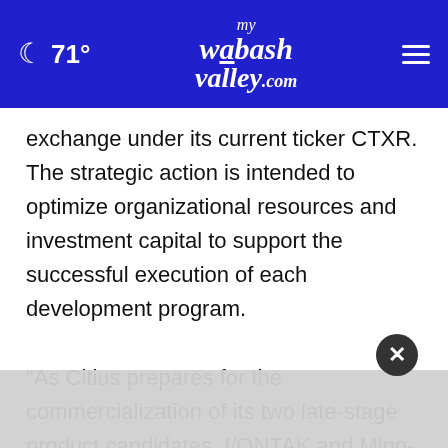🌙 71° myWabashValley.com
exchange under its current ticker CTXR. The strategic action is intended to optimize organizational resources and investment capital to support the successful execution of each development program.

"As Citius prepares for the commercialization of its two late-stage product candidates, I/ONTAK and Mino-Lok, we believe that the market has not adequately valued the potential of our recen[tly...] our